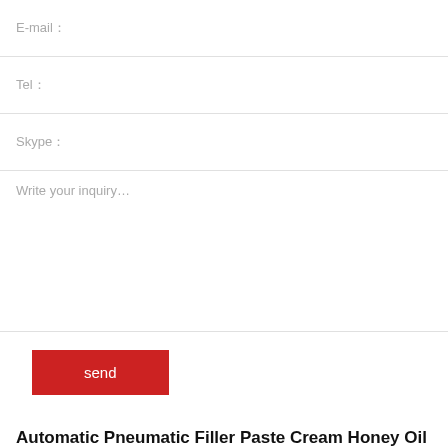E-mail：
Tel：
Skype：
Write your inquiry…
send
Automatic Pneumatic Filler Paste Cream Honey Oil Bottling Filling Machine With Hopper
Label： Flex Filling Machine Manufacturer    Time： 22-06-24